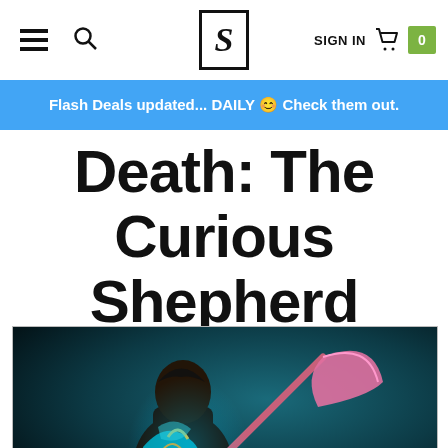≡ 🔍 S SIGN IN 🛒 0
Flash Deals updated... DAILY 😊 Check them out.
Death: The Curious Shepherd Statue
[Figure (photo): A colorful figurine/statue of Death (grim reaper) holding a scythe, with vivid neon-colored details against a dark teal background]